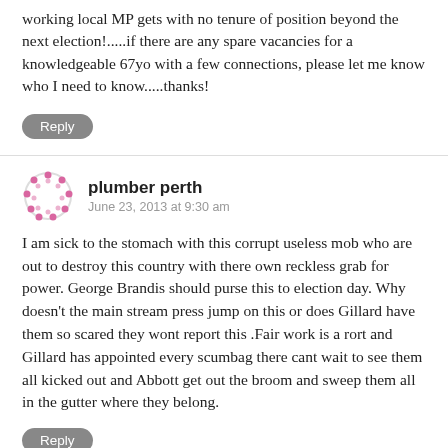working local MP gets with no tenure of position beyond the next election!.....if there are any spare vacancies for a knowledgeable 67yo with a few connections, please let me know who I need to know.....thanks!
Reply
plumber perth
June 23, 2013 at 9:30 am
I am sick to the stomach with this corrupt useless mob who are out to destroy this country with there own reckless grab for power. George Brandis should purse this to election day. Why doesn't the main stream press jump on this or does Gillard have them so scared they wont report this .Fair work is a rort and Gillard has appointed every scumbag there cant wait to see them all kicked out and Abbott get out the broom and sweep them all in the gutter where they belong.
Reply
LlouadCi